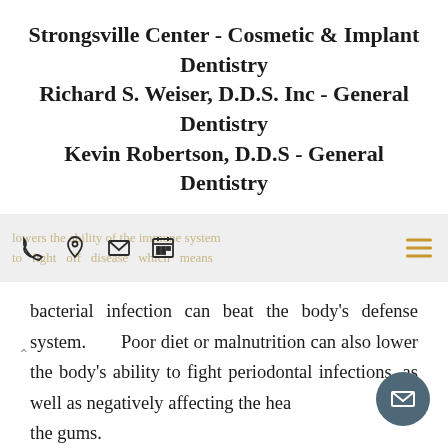Strongsville Center - Cosmetic & Implant Dentistry
Richard S. Weiser, D.D.S. Inc - General Dentistry
Kevin Robertson, D.D.S - General Dentistry
bacterial infection can beat the body's defense system. Poor diet or malnutrition can also lower the body's ability to fight periodontal infections, as well as negatively affecting the health of the gums.